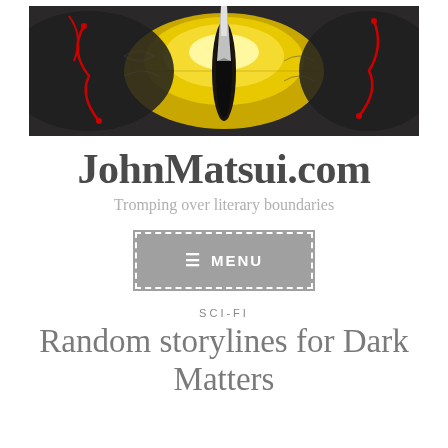[Figure (illustration): A dramatic close-up illustration of a reptilian/dragon eye with a yellow iris, dark slit pupil, dark scaly skin surroundings, and red blood vessel-like tendrils.]
JohnMatsui.com
Tromping over literary boundaries
≡ MENU
SCI-FI
Random storylines for Dark Matters